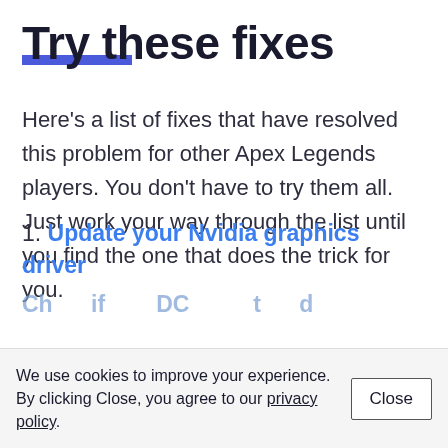Try these fixes
Here's a list of fixes that have resolved this problem for other Apex Legends players. You don't have to try them all. Just work your way through the list until you find the one that does the trick for you.
1. Update your Nvidia graphics driver
We use cookies to improve your experience. By clicking Close, you agree to our privacy policy.